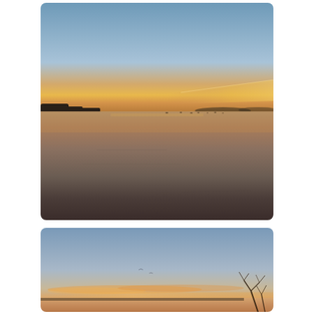[Figure (photo): A wide, calm lake or reservoir at sunset/dusk. The upper half shows a clear blue sky fading to warm amber and orange near the horizon. A dark silhouette of trees lines the horizon. The still water reflects the sky and the golden light, creating a mirror-like surface. The lower portion of the water is darker, transitioning from brown to deep blue-gray.]
[Figure (photo): A landscape photo showing a clear blue sky fading to a warm peach and orange glow near the horizon at sunset. A thin band of orange-pink clouds sits just above the horizon line. Bare tree branches are visible in the lower right corner. The scene suggests open flat terrain, possibly a wetland or prairie.]